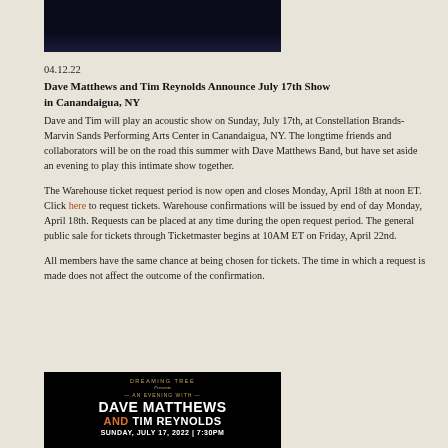[Figure (photo): Dark blue/black top image, appears to be a concert or promotional photo, cropped at top]
04.12.22
Dave Matthews and Tim Reynolds Announce July 17th Show in Canandaigua, NY
Dave and Tim will play an acoustic show on Sunday, July 17th, at Constellation Brands-Marvin Sands Performing Arts Center in Canandaigua, NY. The longtime friends and collaborators will be on the road this summer with Dave Matthews Band, but have set aside an evening to play this intimate show together.
The Warehouse ticket request period is now open and closes Monday, April 18th at noon ET. Click here to request tickets. Warehouse confirmations will be issued by end of day Monday, April 18th. Requests can be placed at any time during the open request period. The general public sale for tickets through Ticketmaster begins at 10AM ET on Friday, April 22nd.
All members have the same chance at being chosen for tickets. The time in which a request is made does not affect the outcome of the confirmation.
[Figure (photo): Concert promotional image on black background. Text reads: DREAMING TREE Presents AN EVENING WITH DAVE MATTHEWS AND TIM REYNOLDS SUNDAY, JULY 17, 2022 | 7:30PM]